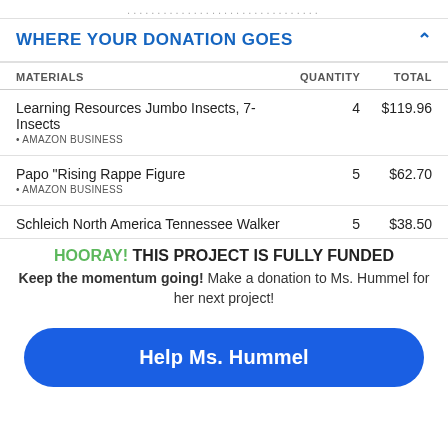................................ [page header partial]
WHERE YOUR DONATION GOES
| MATERIALS | QUANTITY | TOTAL |
| --- | --- | --- |
| Learning Resources Jumbo Insects, 7-Insects • AMAZON BUSINESS | 4 | $119.96 |
| Papo "Rising Rappe Figure • AMAZON BUSINESS | 5 | $62.70 |
| Schleich North America Tennessee Walker | 5 | $38.50 |
HOORAY! THIS PROJECT IS FULLY FUNDED
Keep the momentum going! Make a donation to Ms. Hummel for her next project!
Help Ms. Hummel